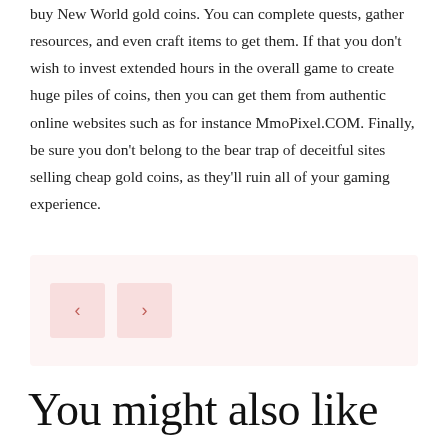buy New World gold coins. You can complete quests, gather resources, and even craft items to get them. If that you don't wish to invest extended hours in the overall game to create huge piles of coins, then you can get them from authentic online websites such as for instance MmoPixel.COM. Finally, be sure you don't belong to the bear trap of deceitful sites selling cheap gold coins, as they'll ruin all of your gaming experience.
[Figure (other): Navigation box with two arrow buttons (left chevron and right chevron) on a light pink background]
You might also like